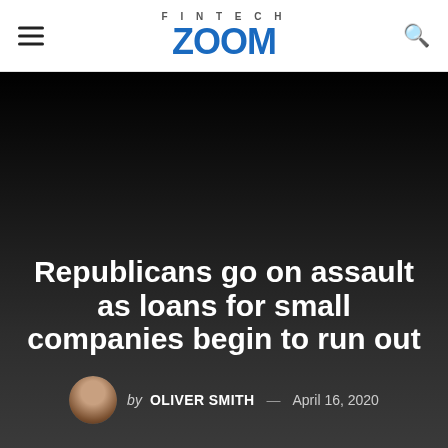FINTECH ZOOM
Republicans go on assault as loans for small companies begin to run out
by OLIVER SMITH — April 16, 2020